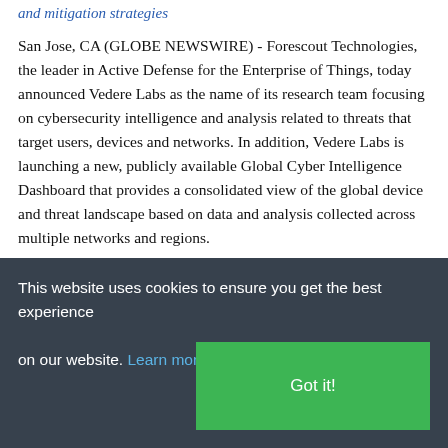and mitigation strategies
San Jose, CA (GLOBE NEWSWIRE) - Forescout Technologies, the leader in Active Defense for the Enterprise of Things, today announced Vedere Labs as the name of its research team focusing on cybersecurity intelligence and analysis related to threats that target users, devices and networks. In addition, Vedere Labs is launching a new, publicly available Global Cyber Intelligence Dashboard that provides a consolidated view of the global device and threat landscape based on data and analysis collected across multiple networks and regions.
“Vedere is an Italian word meaning ‘to see’ and it epitomizes our mission. We are 100% focused on increasing visibility to
This website uses cookies to ensure you get the best experience on our website. Learn more
Got it!